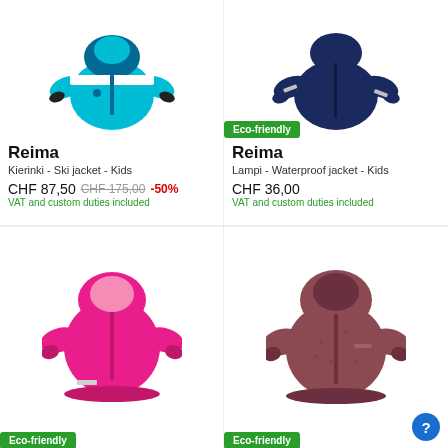[Figure (photo): Reima Kierinki ski jacket for kids in teal/turquoise color]
Reima
Kierinki - Ski jacket - Kids
CHF 87,50  CHF 175,00  -50%
VAT and custom duties included
[Figure (photo): Reima Lampi waterproof jacket for kids in dark navy blue color with Eco-friendly badge]
Reima
Lampi - Waterproof jacket - Kids
CHF 36,00
VAT and custom duties included
[Figure (photo): Pink kids waterproof jacket with Eco-friendly badge]
[Figure (photo): Mauve/burgundy kids ski jacket with Eco-friendly badge]